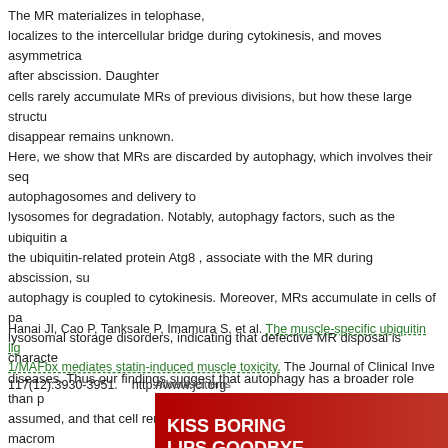The MR materializes in telophase, localizes to the intercellular bridge during cytokinesis, and moves asymmetrically after abscission. Daughter cells rarely accumulate MRs of previous divisions, but how these large structures disappear remains unknown. Here, we show that MRs are discarded by autophagy, which involves their sequestration into autophagosomes and delivery to lysosomes for degradation. Notably, autophagy factors, such as the ubiquitin adaptor p62 and the ubiquitin-related protein Atg8, associate with the MR during abscission, suggesting that autophagy is coupled to cytokinesis. Moreover, MRs accumulate in cells of patients with lysosomal storage disorders, indicating that defective MR disposal is characteristic of these diseases. Thus our findings suggest that autophagy has a broader role than previously assumed, and that cell renovation by clearing from superfluous large macromolecular assemblies, such as MRs, is an important autophagic function.
Hanai JI, Cao P, Tanksale P, Imamura S, et al. The muscle-specific ubiquitin ligase atrogin-1/MAFbx mediates statin-induced muscle toxicity. The Journal of Clinical Investigation. 117(12):3930-3951. http://www.jci.org
[Figure (photo): Advertisement banner: Kiss Boring Lips Goodbye - Macy's cosmetics ad with red lips imagery and Shop Now button]